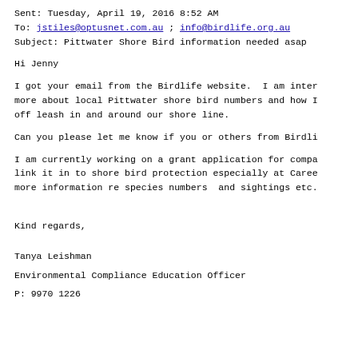Sent: Tuesday, April 19, 2016 8:52 AM
To: jstiles@optusnet.com.au ; info@birdlife.org.au
Subject: Pittwater Shore Bird information needed asap
Hi Jenny
I got your email from the Birdlife website.  I am inter
more about local Pittwater shore bird numbers and how I
off leash in and around our shore line.
Can you please let me know if you or others from Birdli
I am currently working on a grant application for compa
link it in to shore bird protection especially at Caree
more information re species numbers  and sightings etc.
Kind regards,
Tanya Leishman
Environmental Compliance Education Officer
P: 9970 1226